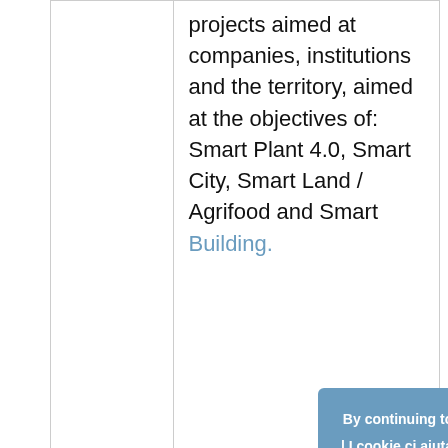|  | projects aimed at companies, institutions and the territory, aimed at the objectives of: Smart Plant 4.0, Smart City, Smart Land / Agrifood and Smart Building. |
|  |  |
|  |  |
By continuing to use the site, you agree to the use of cookies. | I cookie ci aiutano a migliorare i nostri servizi. Utilizzando tali servizi, accetti l'utilizzo dei cookie.
more information
Accept | Accetta
AREA COMMERCIALE E MATERIA ORGANIZZATIVA